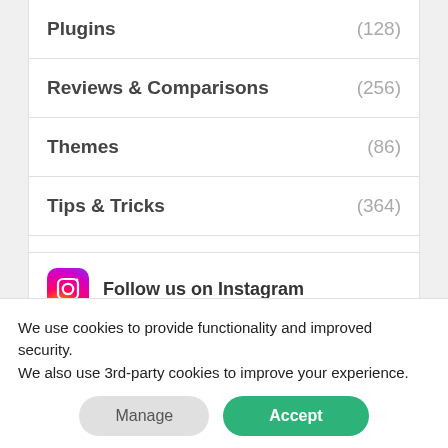Plugins (128)
Reviews & Comparisons (256)
Themes (86)
Tips & Tricks (364)
Tutorials (128)
VPN (27)
Follow us on Instagram
We use cookies to provide functionality and improved security. We also use 3rd-party cookies to improve your experience.